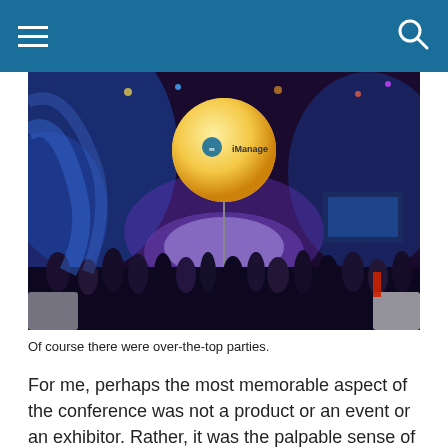Navigation header with hamburger menu and search icon
[Figure (photo): Indoor conference/party venue with crowds of people, blue and purple stage lighting, and a large illuminated balloon with the iManage logo and text 'iManage' floating above the crowd on a pole. Screens and exhibition signage visible in the background.]
Of course there were over-the-top parties.
For me, perhaps the most memorable aspect of the conference was not a product or an event or an exhibitor. Rather, it was the palpable sense of an